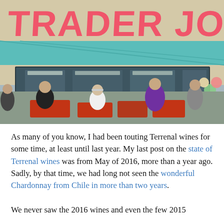[Figure (photo): Exterior of a Trader Joe's store with people sitting outside with red shopping carts in the foreground. The store's pink and teal signage reading 'TRADER JOE'S' is visible. People are milling about near the entrance.]
As many of you know, I had been touting Terrenal wines for some time, at least until last year. My last post on the state of Terrenal wines was from May of 2016, more than a year ago. Sadly, by that time, we had long not seen the wonderful Chardonnay from Chile in more than two years.

We never saw the 2016 wines and even the few 2015